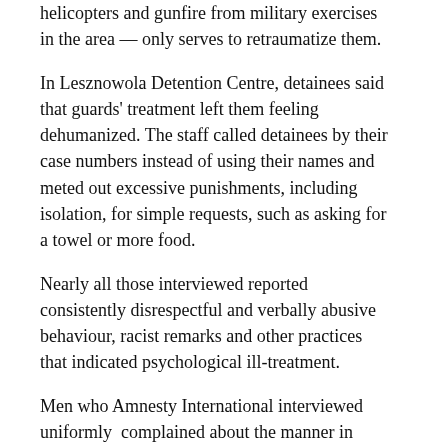helicopters and gunfire from military exercises in the area — only serves to retraumatize them.
In Lesznowola Detention Centre, detainees said that guards' treatment left them feeling dehumanized. The staff called detainees by their case numbers instead of using their names and meted out excessive punishments, including isolation, for simple requests, such as asking for a towel or more food.
Nearly all those interviewed reported consistently disrespectful and verbally abusive behaviour, racist remarks and other practices that indicated psychological ill-treatment.
Men who Amnesty International interviewed uniformly complained about the manner in which body searches were conducted. When people were transferred from one detention centre to another, they were forced to undergo